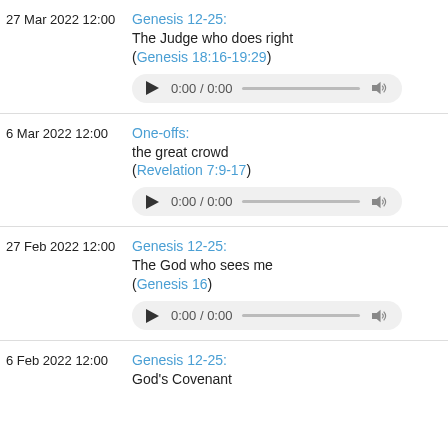27 Mar 2022 12:00 — Genesis 12-25: The Judge who does right (Genesis 18:16-19:29)
6 Mar 2022 12:00 — One-offs: the great crowd (Revelation 7:9-17)
27 Feb 2022 12:00 — Genesis 12-25: The God who sees me (Genesis 16)
6 Feb 2022 12:00 — Genesis 12-25: God's Covenant